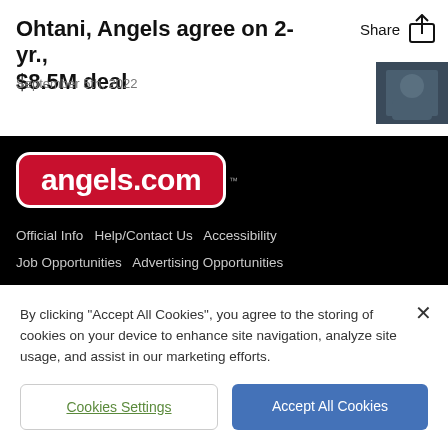Ohtani, Angels agree on 2-yr., $8.5M deal
Share
September 5th, 2022
[Figure (logo): angels.com logo — white text on red rounded rectangle background with TM mark]
Official Info  Help/Contact Us  Accessibility
Job Opportunities  Advertising Opportunities
[Figure (logo): MLB logo (navy and red silhouette batter) and Boys & Girls Clubs logo with text BOYS & GIRLS CLUBS]
By clicking "Accept All Cookies", you agree to the storing of cookies on your device to enhance site navigation, analyze site usage, and assist in our marketing efforts.
Cookies Settings
Accept All Cookies